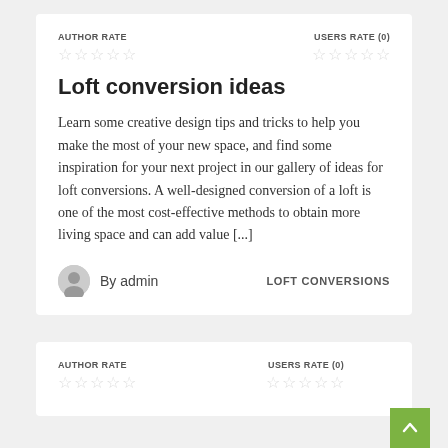AUTHOR RATE
USERS RATE (0)
Loft conversion ideas
Learn some creative design tips and tricks to help you make the most of your new space, and find some inspiration for your next project in our gallery of ideas for loft conversions. A well-designed conversion of a loft is one of the most cost-effective methods to obtain more living space and can add value [...]
By admin
LOFT CONVERSIONS
AUTHOR RATE
USERS RATE (0)